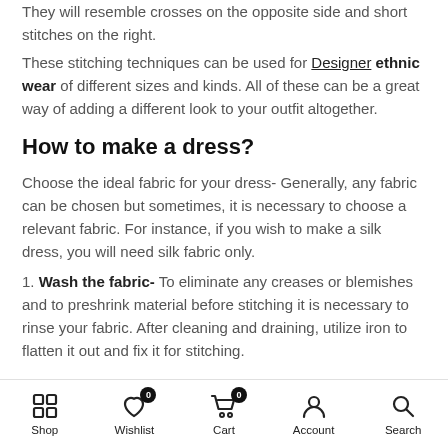They will resemble crosses on the opposite side and short stitches on the right.
These stitching techniques can be used for Designer ethnic wear of different sizes and kinds. All of these can be a great way of adding a different look to your outfit altogether.
How to make a dress?
Choose the ideal fabric for your dress- Generally, any fabric can be chosen but sometimes, it is necessary to choose a relevant fabric. For instance, if you wish to make a silk dress, you will need silk fabric only.
1. Wash the fabric- To eliminate any creases or blemishes and to preshrink material before stitching it is necessary to rinse your fabric. After cleaning and draining, utilize iron to flatten it out and fix it for stitching.
Shop  Wishlist  Cart  Account  Search